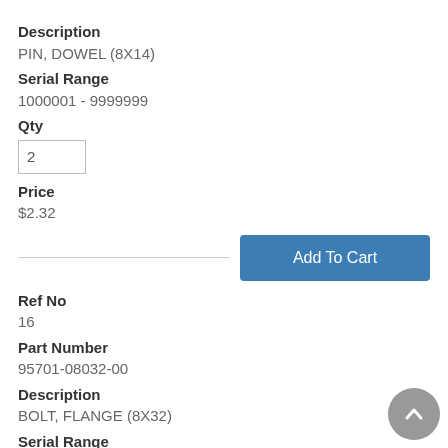Description
PIN, DOWEL (8X14)
Serial Range
1000001 - 9999999
Qty
2
Price
$2.32
Add To Cart
Ref No
16
Part Number
95701-08032-00
Description
BOLT, FLANGE (8X32)
Serial Range
1000001 - 9999999
Qty